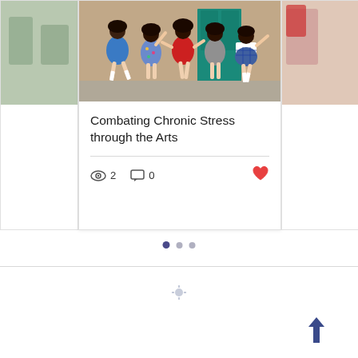[Figure (photo): Partial view of a blog card on the left side — cropped image of children]
[Figure (photo): Blog card featuring a photo of five young girls in school uniforms jumping and dancing outdoors in front of a brick wall with a teal door]
Combating Chronic Stress through the Arts
2 views, 0 comments, heart/like icon
[Figure (photo): Partial view of a blog card on the right side — cropped image]
[Figure (infographic): Pagination dots: one active dark blue dot followed by two lighter grey dots]
[Figure (infographic): Small star/snowflake icon in the lower center of the page]
[Figure (infographic): Dark blue upward-pointing arrow in the lower right area]